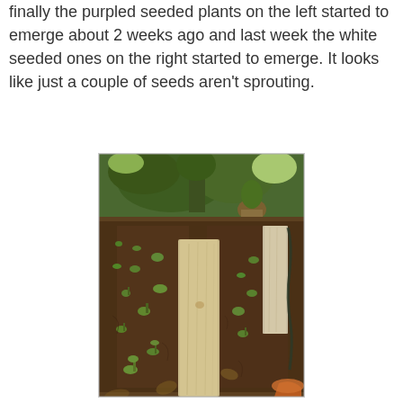finally the purpled seeded plants on the left started to emerge about 2 weeks ago and last week the white seeded ones on the right started to emerge. It looks like just a couple of seeds aren't sprouting.
[Figure (photo): Overhead perspective photo of a garden bed with dark soil, small emerging seedlings scattered across the surface, a weathered wooden plank running down the center, another plank on the right side, a drip irrigation hose on the right, and lush green plants and trees visible in the background.]